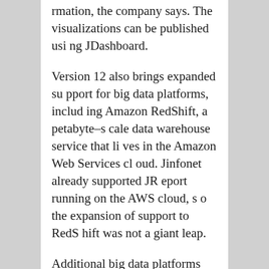rmation, the company says. The visualizations can be published using JDashboard.
Version 12 also brings expanded support for big data platforms, including Amazon RedShift, a petabyte-scale data warehouse service that lives in the Amazon Web Services cloud. Jinfonet already supported JReport running on the AWS cloud, so the expansion of support to RedShift was not a giant leap.
Additional big data platforms supported in JReport 12 include MongoDB and Apache Hive. According to Jinfonet, customers can use MongoDB and Apache Hive to drive “high performance data visualization and analysis using JReport in-memory cubes and detail data caches.”
The world of big data and visual an